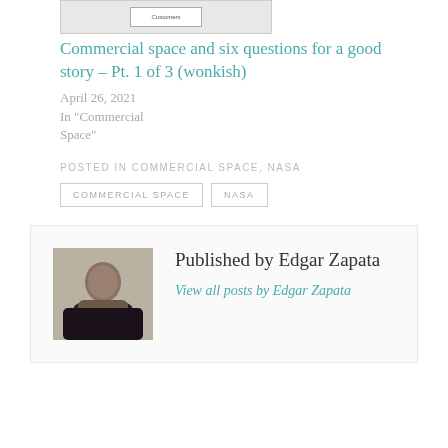[Figure (screenshot): Thumbnail image of an article showing a table/diagram screenshot]
Commercial space and six questions for a good story – Pt. 1 of 3 (wonkish)
April 26, 2021
In "Commercial Space"
POSTED IN COMMERCIAL SPACE, NASA
COMMERCIAL SPACE
NASA
Published by Edgar Zapata
View all posts by Edgar Zapata